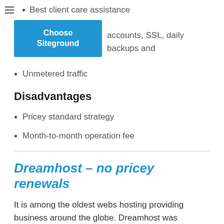Best client care assistance
accounts, SSL, daily backups and
[Figure (other): Blue 'Choose Siteground' button]
Unmetered traffic
Disadvantages
Pricey standard strategy
Month-to-month operation fee
Dreamhost – no pricey renewals
It is among the oldest webs hosting providing business around the globe. Dreamhost was